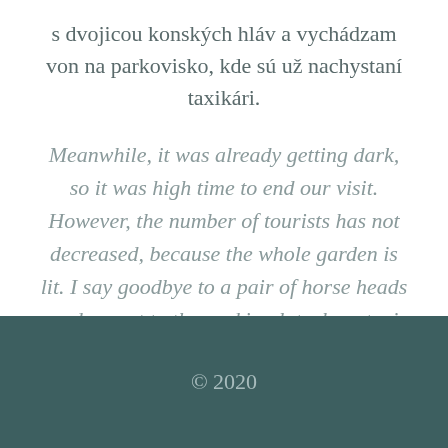s dvojicou konských hláv a vychádzam von na parkovisko, kde sú už nachystaní taxikári.
Meanwhile, it was already getting dark, so it was high time to end our visit. However, the number of tourists has not decreased, because the whole garden is lit. I say goodbye to a pair of horse heads and go out to the parking lot where taxi drivers are ready to pick someone up.
© 2020